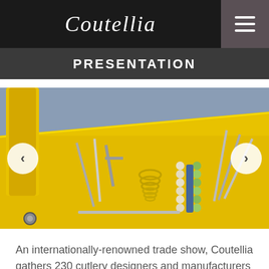Coutellia
PRESENTATION
[Figure (photo): Close-up photo of cutlery tools and corkscrew components arranged on a bright yellow textured surface, with various metal pieces including corkscrews and handles in white and green.]
An internationally-renowned trade show, Coutellia gathers 230 cutlery designers and manufacturers